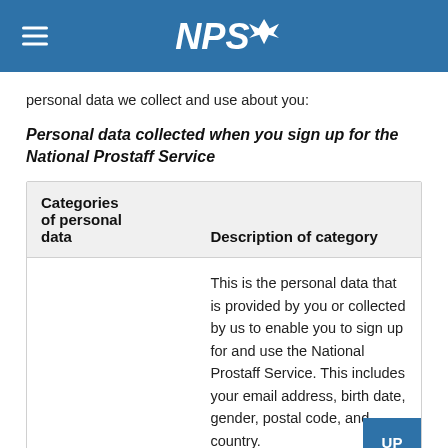NPS
personal data we collect and use about you:
Personal data collected when you sign up for the National Prostaff Service
| Categories of personal data | Description of category |
| --- | --- |
|  | This is the personal data that is provided by you or collected by us to enable you to sign up for and use the National Prostaff Service. This includes your email address, birth date, gender, postal code, and country. |